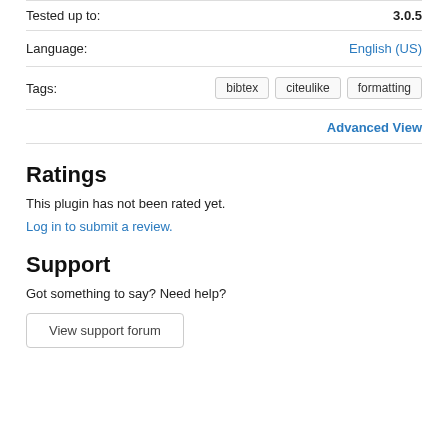| Tested up to: | 3.0.5 |
| Language: | English (US) |
| Tags: | bibtex  citeulike  formatting |
Advanced View
Ratings
This plugin has not been rated yet.
Log in to submit a review.
Support
Got something to say? Need help?
View support forum